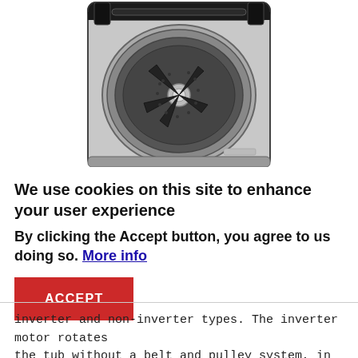[Figure (photo): Top-down view of an open top-load washing machine showing the drum interior with agitator fins, viewed from above. The machine has a dark/black lid and light gray body.]
We use cookies on this site to enhance your user experience
By clicking the Accept button, you agree to us doing so. More info
ACCEPT
inverter and non-inverter types. The inverter motor rotates the tub without a belt and pulley system, in which power is delivered directly from the motor to the tub. This ensures